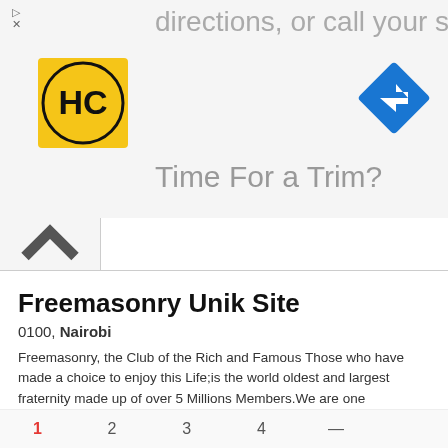[Figure (screenshot): Advertisement banner with HC logo, navigation/direction icon, text 'directions, or call your salon!' and 'Time For a Trim?']
Freemasonry Unik Site
0100, Nairobi
Freemasonry, the Club of the Rich and Famous Those who have made a choice to enjoy this Life;is the world oldest and largest fraternity made up of over 5 Millions Members.We are one Family under one f...
[Figure (logo): Stylized gothic/blackletter logo for Freemasonry Unik Site]
✓ Verified   +8  Years with us
Phone   E-mail   Website   4 Photos